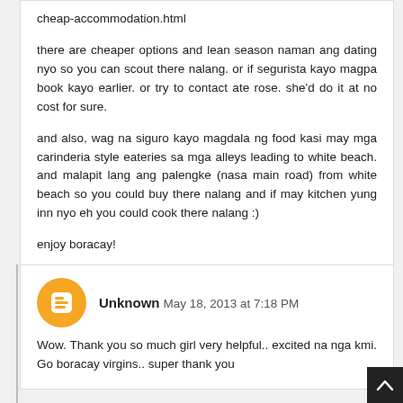cheap-accommodation.html

there are cheaper options and lean season naman ang dating nyo so you can scout there nalang. or if segurista kayo magpa book kayo earlier. or try to contact ate rose. she'd do it at no cost for sure.

and also, wag na siguro kayo magdala ng food kasi may mga carinderia style eateries sa mga alleys leading to white beach. and malapit lang ang palengke (nasa main road) from white beach so you could buy there nalang and if may kitchen yung inn nyo eh you could cook there nalang :)

enjoy boracay!
Unknown May 18, 2013 at 7:18 PM

Wow. Thank you so much girl very helpful.. excited na nga kmi. Go boracay virgins.. super thank you